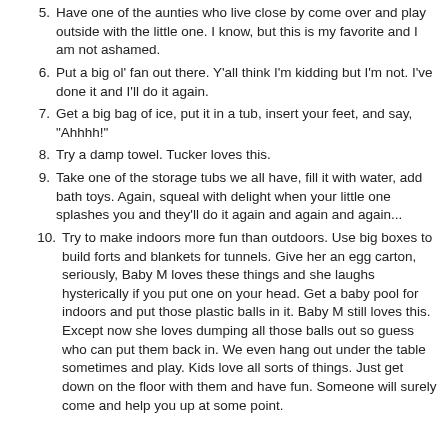5. Have one of the aunties who live close by come over and play outside with the little one. I know, but this is my favorite and I am not ashamed.
6. Put a big ol' fan out there. Y'all think I'm kidding but I'm not. I've done it and I'll do it again.
7. Get a big bag of ice, put it in a tub, insert your feet, and say, "Ahhhh!"
8. Try a damp towel. Tucker loves this.
9. Take one of the storage tubs we all have, fill it with water, add bath toys. Again, squeal with delight when your little one splashes you and they'll do it again and again and again...
10. Try to make indoors more fun than outdoors. Use big boxes to build forts and blankets for tunnels. Give her an egg carton, seriously, Baby M loves these things and she laughs hysterically if you put one on your head. Get a baby pool for indoors and put those plastic balls in it. Baby M still loves this. Except now she loves dumping all those balls out so guess who can put them back in. We even hang out under the table sometimes and play. Kids love all sorts of things. Just get down on the floor with them and have fun. Someone will surely come and help you up at some point.